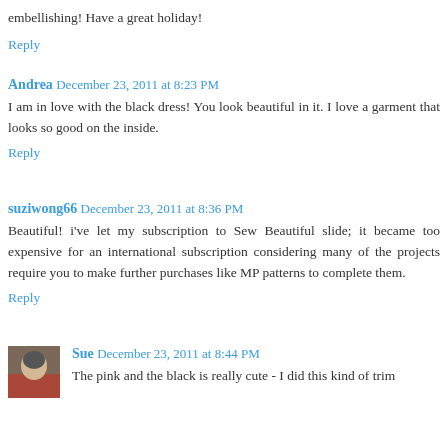embellishing! Have a great holiday!
Reply
Andrea  December 23, 2011 at 8:23 PM
I am in love with the black dress! You look beautiful in it. I love a garment that looks so good on the inside.
Reply
suziwong66  December 23, 2011 at 8:36 PM
Beautiful! i've let my subscription to Sew Beautiful slide; it became too expensive for an international subscription considering many of the projects require you to make further purchases like MP patterns to complete them.
Reply
Sue  December 23, 2011 at 8:44 PM
The pink and the black is really cute - I did this kind of trim